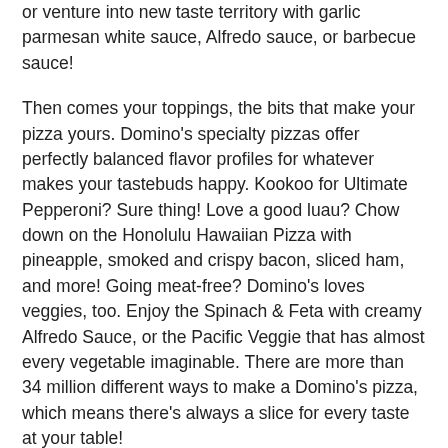or venture into new taste territory with garlic parmesan white sauce, Alfredo sauce, or barbecue sauce!
Then comes your toppings, the bits that make your pizza yours. Domino's specialty pizzas offer perfectly balanced flavor profiles for whatever makes your tastebuds happy. Kookoo for Ultimate Pepperoni? Sure thing! Love a good luau? Chow down on the Honolulu Hawaiian Pizza with pineapple, smoked and crispy bacon, sliced ham, and more! Going meat-free? Domino's loves veggies, too. Enjoy the Spinach & Feta with creamy Alfredo Sauce, or the Pacific Veggie that has almost every vegetable imaginable. There are more than 34 million different ways to make a Domino's pizza, which means there's always a slice for every taste at your table!
You can design a one-of-a-kind pizza, too. The Pizza Builder puts the power of pizza in your hands! Pick your pizza size, crust, sauce, amount of cheese, and all the toppings you crave. Enjoy your pizza exactly how you want it. After all, pizza is good any way you slice it! And don't forget desserts, bread twists, drinks, and dipping sauces to round out your meal. Wrap up your order and get excited. It's alright if your mouth literally starts watering. A box full of deliciousness is about to be ready for takeout or